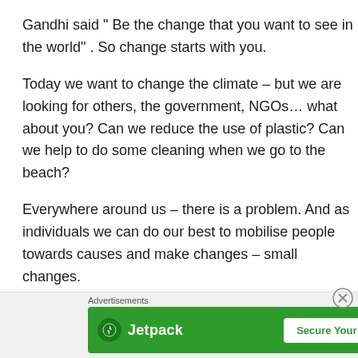Gandhi said “ Be the change that you want to see in the world” .  So change starts with you.
Today we want to change the climate – but we are looking for others, the government, NGOs… what about you? Can we reduce the use of plastic? Can we help to do some cleaning when we go to the beach?
Everywhere around us – there is a problem.  And as individuals we can do our best to mobilise people towards causes and make changes – small changes.
But it all begins with changing our outlook.. conquering our emotions and serving others with a smile.
[Figure (infographic): Jetpack advertisement banner with green background. Shows Jetpack logo on left and 'Secure Your Site' white button on right. 'Advertisements' label above the banner.]